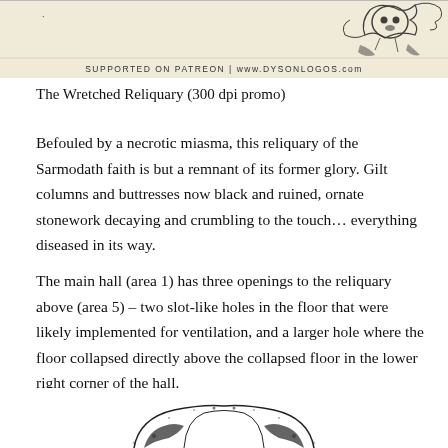[Figure (illustration): Top portion of a decorative illustrated banner with a skull-like ornament and foliage design in black ink on cream background, with text 'SUPPORTED ON PATREON | www.DYSONLOGOS.com' at the bottom of the banner image.]
The Wretched Reliquary (300 dpi promo)
Befouled by a necrotic miasma, this reliquary of the Sarmodath faith is but a remnant of its former glory. Gilt columns and buttresses now black and ruined, ornate stonework decaying and crumbling to the touch… everything diseased in its way.
The main hall (area 1) has three openings to the reliquary above (area 5) – two slot-like holes in the floor that were likely implemented for ventilation, and a larger hole where the floor collapsed directly above the collapsed floor in the lower right corner of the hall.
[Figure (illustration): Partial view of a detailed black ink illustration showing decorative foliage and architectural elements, bottom of page.]